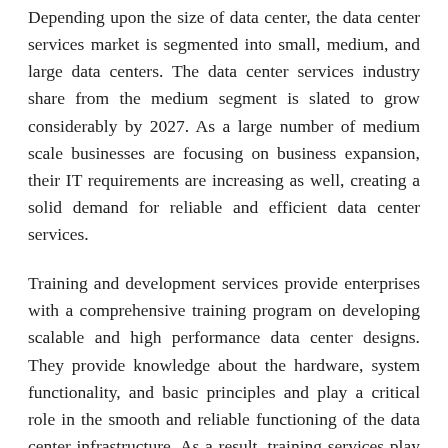Depending upon the size of data center, the data center services market is segmented into small, medium, and large data centers. The data center services industry share from the medium segment is slated to grow considerably by 2027. As a large number of medium scale businesses are focusing on business expansion, their IT requirements are increasing as well, creating a solid demand for reliable and efficient data center services.
Training and development services provide enterprises with a comprehensive training program on developing scalable and high performance data center designs. They provide knowledge about the hardware, system functionality, and basic principles and play a critical role in the smooth and reliable functioning of the data center infrastructure. As a result, training services play a role in ensuring optimum design, functioning, and performance of a data center infrastructure.
The data center services market size from healthcare